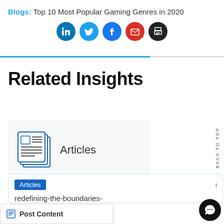Blogs: Top 10 Most Popular Gaming Genres in 2020
[Figure (infographic): Row of 5 social share icons: LinkedIn (blue), Twitter (light blue), Facebook (blue), Email (red), Print (black)]
Related Insights
[Figure (illustration): Stacked newspaper/articles icon in blue outline style]
Articles
Articles
redefining-the-boundaries-
Post Content